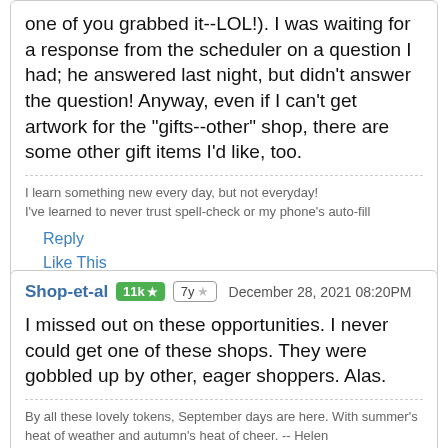one of you grabbed it--LOL!). I was waiting for a response from the scheduler on a question I had; he answered last night, but didn't answer the question! Anyway, even if I can't get artwork for the "gifts--other" shop, there are some other gift items I'd like, too.
I learn something new every day, but not everyday!
I've learned to never trust spell-check or my phone's auto-fill
Reply
Like This
Shop-et-al  11k★  7y★  December 28, 2021 08:20PM
I missed out on these opportunities. I never could get one of these shops. They were gobbled up by other, eager shoppers. Alas.
By all these lovely tokens, September days are here. With summer's heat of weather and autumn's heat of cheer. -- Helen Hunt Jackson